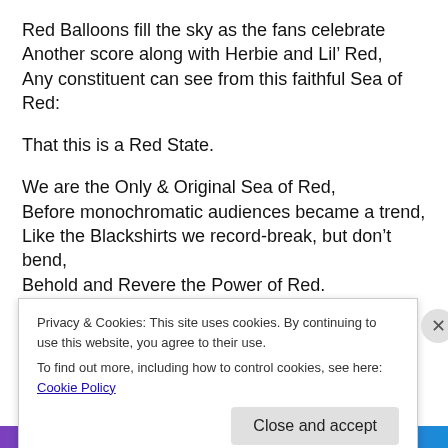Red Balloons fill the sky as the fans celebrate
Another score along with Herbie and Lil’ Red,
Any constituent can see from this faithful Sea of Red:
That this is a Red State.
We are the Only & Original Sea of Red,
Before monochromatic audiences became a trend,
Like the Blackshirts we record-break, but don’t bend,
Behold and Revere the Power of Red.
The Huskers aren’t just football; it’s a Family Tradition:
The Pelinis, The Steinkuehlers, The Ruuds—to name a few
Privacy & Cookies: This site uses cookies. By continuing to use this website, you agree to their use.
To find out more, including how to control cookies, see here: Cookie Policy
Close and accept